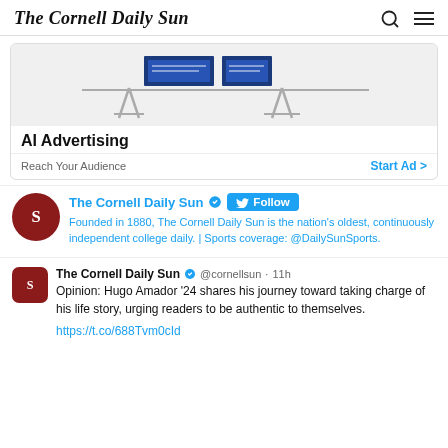The Cornell Daily Sun
[Figure (illustration): Advertisement banner with billboard illustration showing blue display boards on grey stands]
AI Advertising
Reach Your Audience   Start Ad >
The Cornell Daily Sun  Founded in 1880, The Cornell Daily Sun is the nation's oldest, continuously independent college daily. | Sports coverage: @DailySunSports.
The Cornell Daily Sun @cornellsun · 11h
Opinion: Hugo Amador '24 shares his journey toward taking charge of his life story, urging readers to be authentic to themselves.
https://t.co/688Tvm0cId